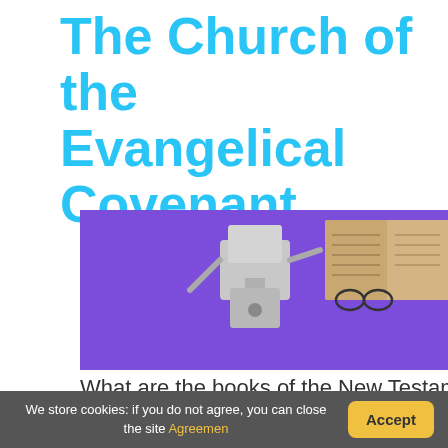The Church of the Evangelical Covenant
[Figure (illustration): A cartoon robot character holding an open book/bible on a purple background]
What are the books of the New Testamen...
The New Testament tells the story of the life of Jesus an...
We store cookies: if you do not agree, you can close the site Agreement  [Accept button]